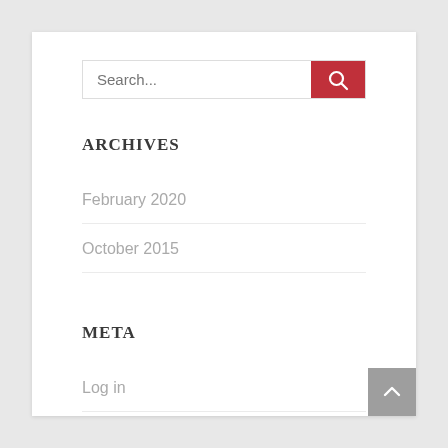[Figure (other): Search input field with red search button containing magnifying glass icon]
ARCHIVES
February 2020
October 2015
META
Log in
[Figure (other): Scroll to top button (grey square with upward chevron arrow)]